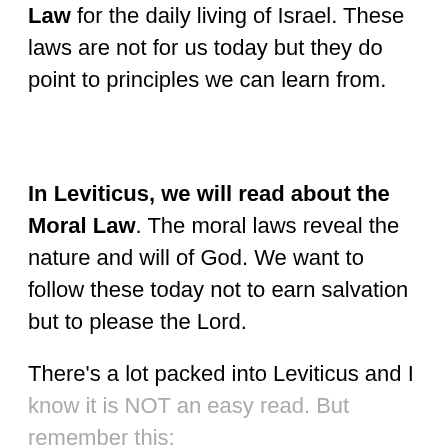In Leviticus, we will read about the Civil Law for the daily living of Israel. These laws are not for us today but they do point to principles we can learn from.
In Leviticus, we will read about the Moral Law. The moral laws reveal the nature and will of God. We want to follow these today not to earn salvation but to please the Lord.
There's a lot packed into Leviticus and I know it is NOT an easy read. But remember this: